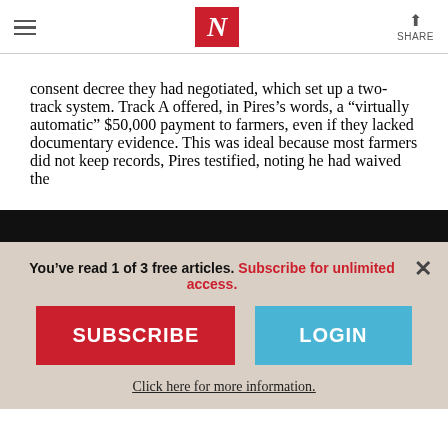The Nation — navigation header with hamburger menu, N logo, and Share button
consent decree they had negotiated, which set up a two-track system. Track A offered, in Pires's words, a “virtually automatic” $50,000 payment to farmers, even if they lacked documentary evidence. This was ideal because most farmers did not keep records, Pires testified, noting he had waived the
You’ve read 1 of 3 free articles. Subscribe for unlimited access.
SUBSCRIBE
LOGIN
Click here for more information.